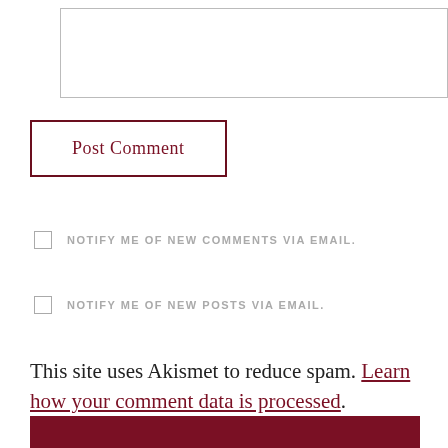[Figure (screenshot): Text input textarea box with light gray border]
Post Comment
NOTIFY ME OF NEW COMMENTS VIA EMAIL.
NOTIFY ME OF NEW POSTS VIA EMAIL.
This site uses Akismet to reduce spam. Learn how your comment data is processed.
[Figure (screenshot): Dark red footer bar with search box at bottom]